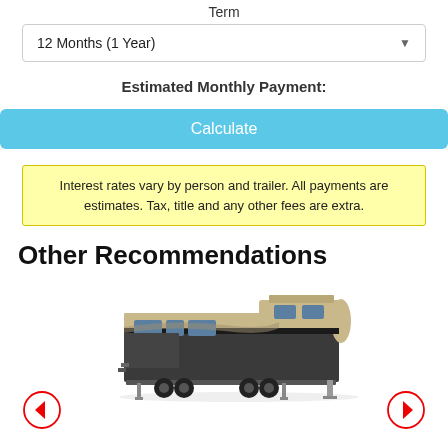Term
12 Months (1 Year)
Estimated Monthly Payment:
Calculate
Interest rates vary by person and trailer. All payments are estimates. Tax, title and any other fees are extra.
Other Recommendations
[Figure (photo): A fifth-wheel RV trailer with beige and dark body panels, showing the front and side profile.]
[Figure (other): Left navigation arrow in a circle (red arrow pointing left)]
[Figure (other): Right navigation arrow in a circle (red arrow pointing right)]